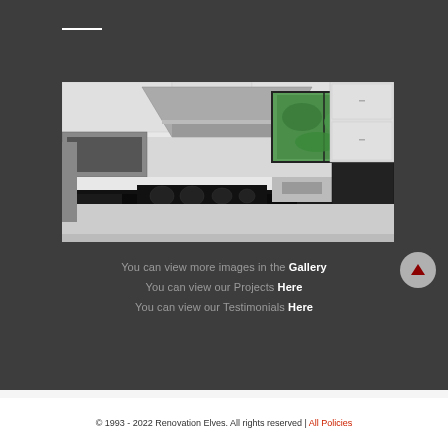[Figure (photo): Kitchen renovation photo showing white cabinets with dark granite countertops, stainless steel range hood, gas cooktop, and window with green tropical plants visible outside]
You can view more images in the Gallery
You can view our Projects Here
You can view our Testimonials Here
© 1993 - 2022 Renovation Elves. All rights reserved | All Policies